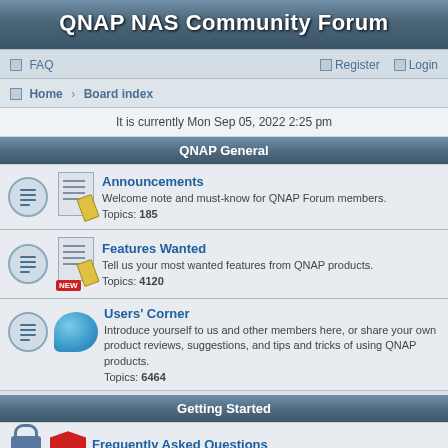QNAP NAS Community Forum
FAQ   Register   Login
Home › Board index
It is currently Mon Sep 05, 2022 2:25 pm
QNAP General
Announcements
Welcome note and must-know for QNAP Forum members.
Topics: 185
Features Wanted
Tell us your most wanted features from QNAP products.
Topics: 4120
Users' Corner
Introduce yourself to us and other members here, or share your own product reviews, suggestions, and tips and tricks of using QNAP products.
Topics: 6464
Getting Started
Frequently Asked Questions
Topics: 17